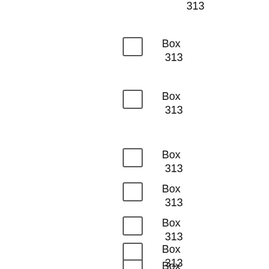313
Box
313
Box
313
Box
313
Box
313
Box
313
Box
313
Box
313